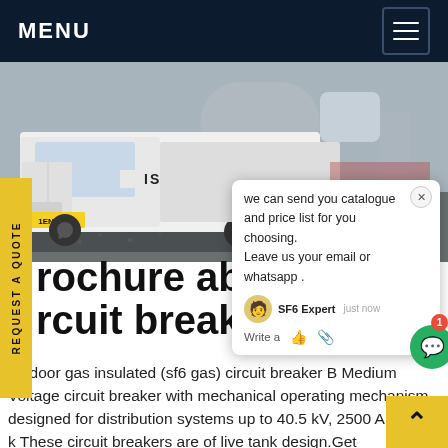MENU
[Figure (photo): White Isuzu truck in an industrial/outdoor setting with gravel ground and industrial equipment in background]
we can send you catalogue and price list for you choosing. Leave us your email or whatsapp . SF6 Expert  just now  Write a
brochure abb 220 kV sf6 circuit breaker Africa
outdoor gas insulated (sf6 gas) circuit breaker B Medium Voltage circuit breaker with mechanical operating mechanism designed for distribution systems up to 40.5 kV, 2500 A, 31.5 k These circuit breakers are of live tank design.Get